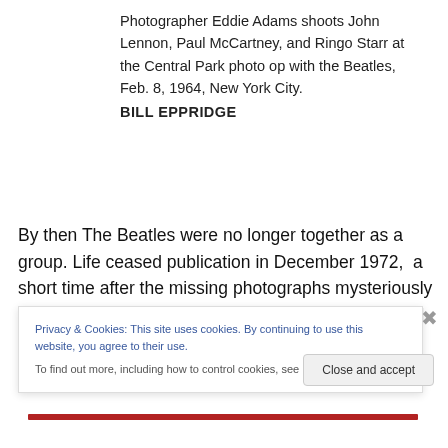Photographer Eddie Adams shoots John Lennon, Paul McCartney, and Ringo Starr at the Central Park photo op with the Beatles, Feb. 8, 1964, New York City.
BILL EPPRIDGE
By then The Beatles were no longer together as a group. Life ceased publication in December 1972,  a short time after the missing photographs mysteriously reappeared. Bill never solved the mystery. He added a note to his acknowledgements page of our new book published in
Privacy & Cookies: This site uses cookies. By continuing to use this website, you agree to their use.
To find out more, including how to control cookies, see here: Cookie Policy
Close and accept